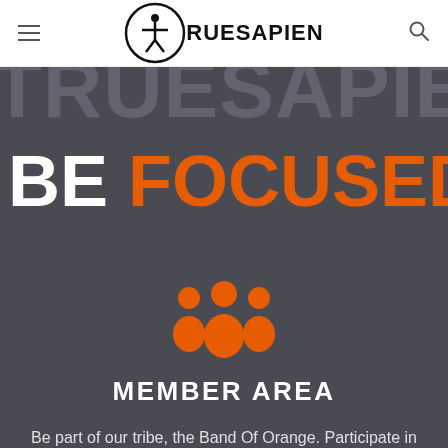TRUESAPIEN
TRUESAPIEN
BE FOCUSED
[Figure (illustration): Orange group/community icon showing three people silhouettes]
MEMBER AREA
Be part of our tribe, the Band Of Orange. Participate in Challenges, enrol in our virtual Running and Cycling Club